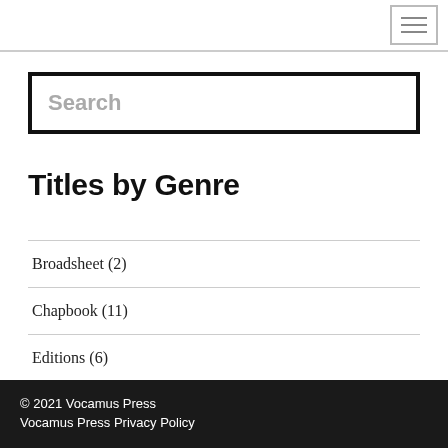≡
Search
Titles by Genre
Broadsheet (2)
Chapbook (11)
Editions (6)
ETCH (5)
© 2021 Vocamus Press
Vocamus Press Privacy Policy